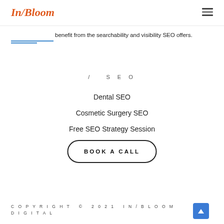[Figure (logo): InBloom logo in orange/red serif font]
[Figure (other): Hamburger menu icon]
[Figure (other): Blue decorative lines indicating partial image above]
benefit from the searchability and visibility SEO offers.
/ SEO
Dental SEO
Cosmetic Surgery SEO
Free SEO Strategy Session
BOOK A CALL
COPYRIGHT © 2021 IN/BLOOM DIGITAL